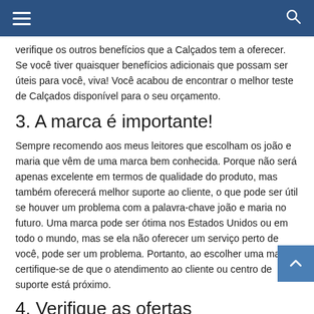Navigation bar with hamburger menu and search icon
verifique os outros benefícios que a Calçados tem a oferecer. Se você tiver quaisquer benefícios adicionais que possam ser úteis para você, viva! Você acabou de encontrar o melhor teste de Calçados disponível para o seu orçamento.
3. A marca é importante!
Sempre recomendo aos meus leitores que escolham os joão e maria que vêm de uma marca bem conhecida. Porque não será apenas excelente em termos de qualidade do produto, mas também oferecerá melhor suporte ao cliente, o que pode ser útil se houver um problema com a palavra-chave joão e maria no futuro. Uma marca pode ser ótima nos Estados Unidos ou em todo o mundo, mas se ela não oferecer um serviço perto de você, pode ser um problema. Portanto, ao escolher uma marca, certifique-se de que o atendimento ao cliente ou centro de suporte está próximo.
4. Verifique as ofertas